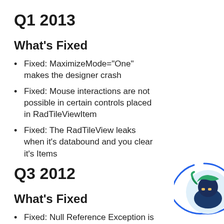Q1 2013
What's Fixed
Fixed: MaximizeMode="One" makes the designer crash
Fixed: Mouse interactions are not possible in certain controls placed in RadTileViewItem
Fixed: The RadTileView leaks when it's databound and you clear it's Items
Q3 2012
What's Fixed
Fixed: Null Reference Exception is thrown when using the TileView along with a DataPager